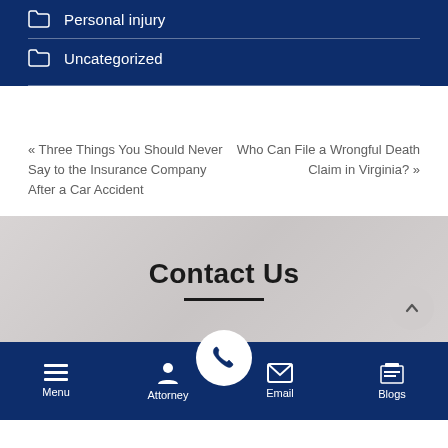Personal injury
Uncategorized
« Three Things You Should Never Say to the Insurance Company After a Car Accident
Who Can File a Wrongful Death Claim in Virginia? »
Contact Us
Menu | Attorney | (phone) | Email | Blogs